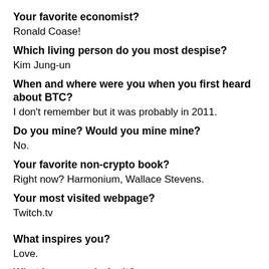Your favorite economist?
Ronald Coase!
Which living person do you most despise?
Kim Jung-un
When and where were you when you first heard about BTC?
I don't remember but it was probably in 2011.
Do you mine? Would you mine mine?
No.
Your favorite non-crypto book?
Right now? Harmonium, Wallace Stevens.
Your most visited webpage?
Twitch.tv
What inspires you?
Love.
What is your main fault?